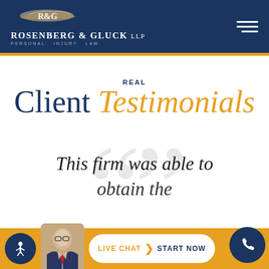Rosenberg & Gluck LLP Personal Injury Law
REAL Client Testimonials
This firm was able to obtain the
LIVE CHAT › START NOW